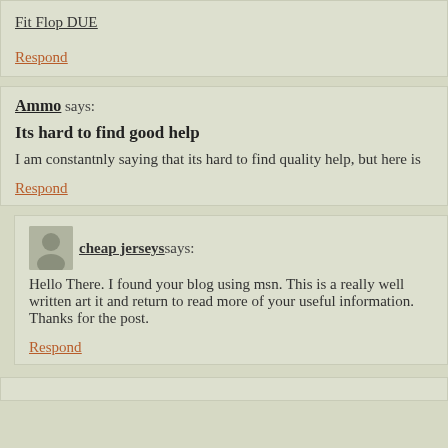Fit Flop DUE
Respond
Ammo says:
Its hard to find good help
I am constantnly saying that its hard to find quality help, but here is
Respond
cheap jerseys says:
Hello There. I found your blog using msn. This is a really well written art it and return to read more of your useful information. Thanks for the post.
Respond